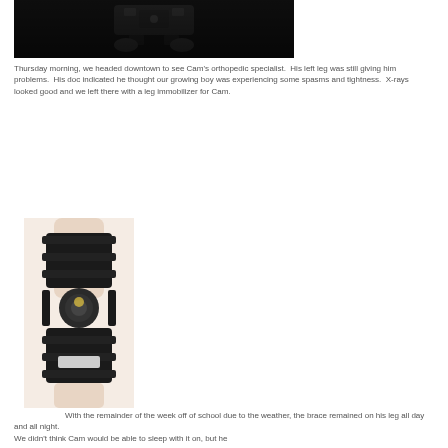[Figure (photo): A dark/black background photo showing what appears to be a small robotic vehicle or toy robot at the top of the frame]
Thursday morning, we headed downtown to see Cam's orthopedic specialist.  His left leg was still giving him problems.  His doc indicated he thought our growing boy was experiencing some spasms and tightness.  X-rays looked good and we left there with a leg immobilizer for Cam.
[Figure (photo): A photograph of a leg wearing a black orthopedic knee/leg immobilizer brace with multiple straps and a hinged joint mechanism]
With the remainder of the week off of school due to the weather, the brace remained on his leg all day and all night.
We didn't think Cam would be able to sleep with it on, but he